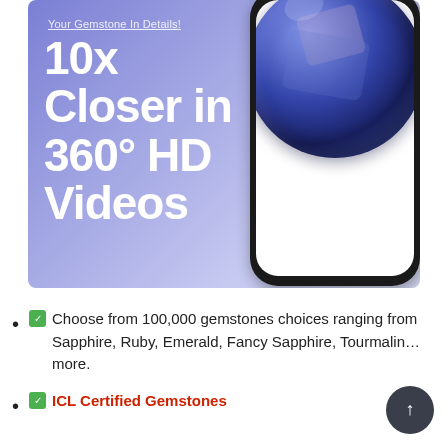[Figure (infographic): Promotional banner with purple-blue gradient background showing a smartphone displaying a large blue sapphire gemstone. Text reads 'Your Gemstone In Details!' and '10x Closer in 360° HD Videos']
✅ Choose from 100,000 gemstones choices ranging from Sapphire, Ruby, Emerald, Fancy Sapphire, Tourmaline more.
✅ ICL Certified Gemstones